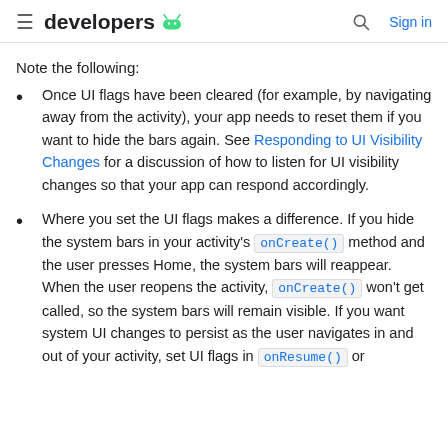developers [android logo] [search] Sign in
Note the following:
Once UI flags have been cleared (for example, by navigating away from the activity), your app needs to reset them if you want to hide the bars again. See Responding to UI Visibility Changes for a discussion of how to listen for UI visibility changes so that your app can respond accordingly.
Where you set the UI flags makes a difference. If you hide the system bars in your activity's onCreate() method and the user presses Home, the system bars will reappear. When the user reopens the activity, onCreate() won't get called, so the system bars will remain visible. If you want system UI changes to persist as the user navigates in and out of your activity, set UI flags in onResume() or